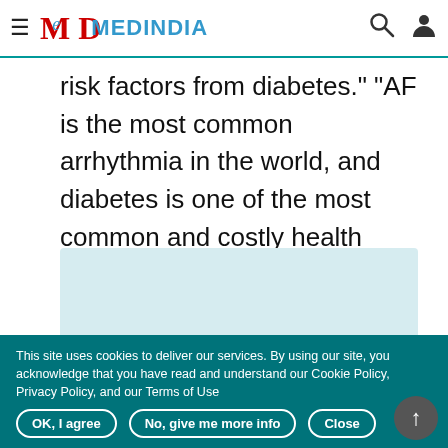MEDINDIA
risk factors from diabetes." "AF is the most common arrhythmia in the world, and diabetes is one of the most common and costly health conditions.
[Figure (illustration): Light blue/teal image card placeholder for Palpitations And Arrhythmias article]
Palpitations And Arrhythmias
This site uses cookies to deliver our services. By using our site, you acknowledge that you have read and understand our Cookie Policy, Privacy Policy, and our Terms of Use
OK, I agree   No, give me more info   Close